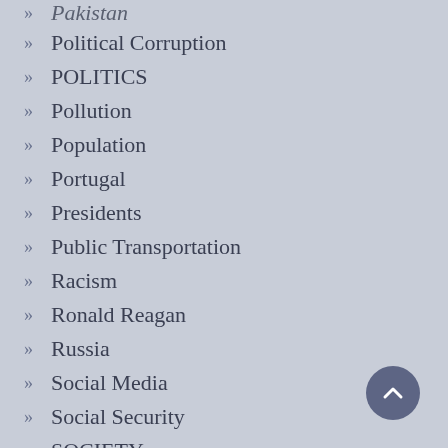Pakistan
Political Corruption
POLITICS
Pollution
Population
Portugal
Presidents
Public Transportation
Racism
Ronald Reagan
Russia
Social Media
Social Security
SOCIETY
Spain